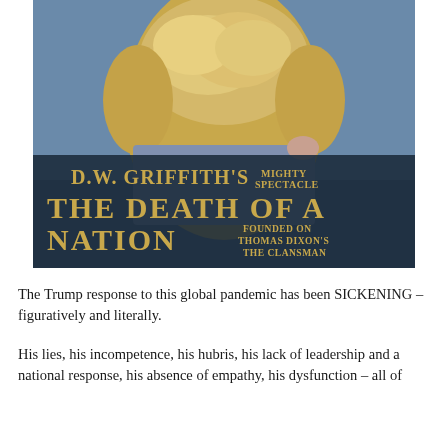[Figure (photo): Movie poster for D.W. Griffith's 'The Death of a Nation', showing a woman in a Victorian-era golden dress with ruffles against a blue background. Text on the poster reads: 'D.W. GRIFFITH'S MIGHTY SPECTACLE / THE DEATH OF A NATION / FOUNDED ON THOMAS DIXON'S THE CLANSMAN']
The Trump response to this global pandemic has been SICKENING – figuratively and literally.
His lies, his incompetence, his hubris, his lack of leadership and a national response, his absence of empathy, his dysfunction – all of